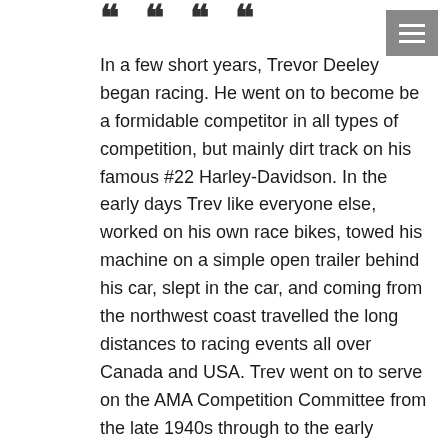[Figure (other): Decorative quotation mark symbols at top left]
In a few short years, Trevor Deeley began racing. He went on to become be a formidable competitor in all types of competition, but mainly dirt track on his famous #22 Harley-Davidson. In the early days Trev like everyone else, worked on his own race bikes, towed his machine on a simple open trailer behind his car, slept in the car, and coming from the northwest coast travelled the long distances to racing events all over Canada and USA. Trev went on to serve on the AMA Competition Committee from the late 1940s through to the early 1970s. Not a big man, his strong spirit, dogged determination and will to win served him well, not only on the race rack but also in his future business endeavours.
In 1953 Trevor became the General Manager of Fred Deeley Imports. His skills in business, with undoubtedly a good measure of risk taking thrown